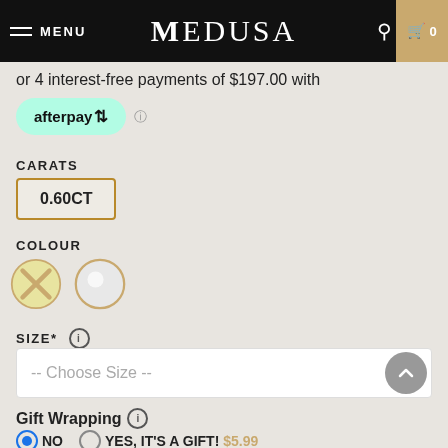MENU MEDUSA 0
or 4 interest-free payments of $197.00 with afterpay
CARATS
0.60CT
COLOUR
[Figure (other): Two colour option circles: a gold/yellow X (unavailable) and a white/silver circle (selected)]
SIZE*
-- Choose Size --
Gift Wrapping
NO   YES, IT'S A GIFT! $5.99